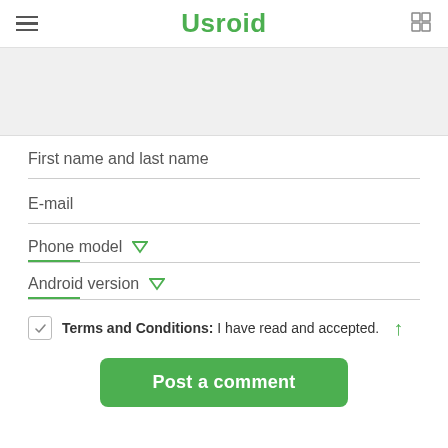Usroid
[Figure (screenshot): Gray placeholder image area]
First name and last name
E-mail
Phone model
Android version
Terms and Conditions: I have read and accepted.
Post a comment